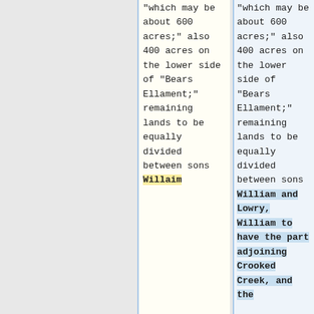"which may be about 600 acres;" also 400 acres on the lower side of "Bears Ellament;" remaining lands to be equally divided between sons Willaim
"which may be about 600 acres;" also 400 acres on the lower side of "Bears Ellament;" remaining lands to be equally divided between sons William and Lowry, William to have the part adjoining Crooked Creek, and the